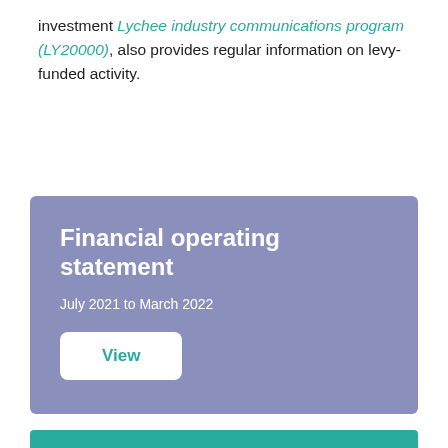investment Lychee industry communications program (LY20000), also provides regular information on levy-funded activity.
Financial operating statement
July 2021 to March 2022
View